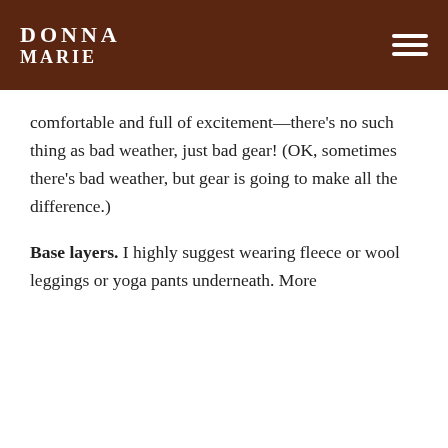DONNA MARIE
comfortable and full of excitement—there's no such thing as bad weather, just bad gear! (OK, sometimes there's bad weather, but gear is going to make all the difference.)
Base layers. I highly suggest wearing fleece or wool leggings or yoga pants underneath. More